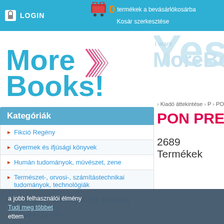LOGIN   0 termékek a bevásárlókosárba   Kosár szerkesztése
[Figure (logo): MoreBooks! logo with chevron icon in blue and red/pink]
[Figure (logo): i want MoreBooks watermark text in light blue]
Kategóriák
Fikció Regény
Gyermek és ifjúsági könyvek
Humán tudományok, müvészet, zene
Természet-, orvosi-, számítástechnikai tudományok, technológiák
Társadalom tudományok, jog, gazdaság
Iskola és tanulás
Szakkönyvek
Kiadó áttekintése  >  P  >  PON PR
PON PRESS
2689 Termékek
a jobb felhasználói élmény
Tuдj meg többet
ettem